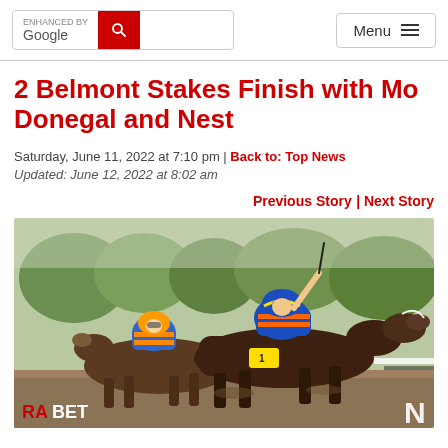ENHANCED BY Google | Menu
2 Belmont Stakes Finish with Mo Donegal and Nest
Saturday, June 11, 2022 at 7:10 pm | Back to: Top News
Updated: June 12, 2022 at 8:02 am
Previous Story | Next Story
[Figure (photo): Two jockeys on horseback racing at the Belmont Stakes finish line. The foreground jockey wears blue and orange silks with a blue helmet, raising a whip. The second jockey wears similar colors with an orange helmet. Both horses are dark brown/bay and running at full gallop. Background shows trees and grandstands.]